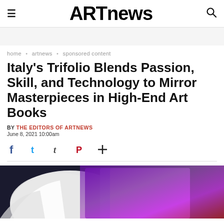ARTnews
home • artnews • sponsored content
Italy's Trifolio Blends Passion, Skill, and Technology to Mirror Masterpieces in High-End Art Books
BY THE EDITORS OF ARTNEWS
June 8, 2021 10:00am
[Figure (photo): Bottom portion of a hero image showing art books with purple/violet cover on a dark background]